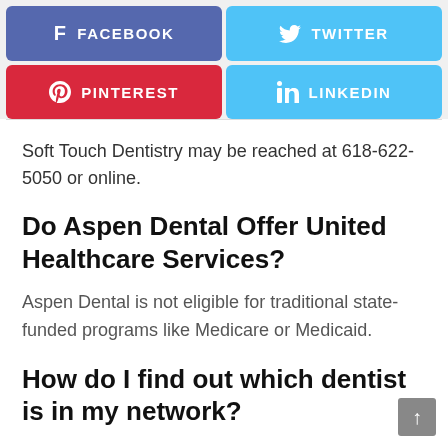[Figure (infographic): Social media share buttons: Facebook (purple-blue), Twitter (light blue), Pinterest (red), LinkedIn (light blue)]
Soft Touch Dentistry may be reached at 618-622-5050 or online.
Do Aspen Dental Offer United Healthcare Services?
Aspen Dental is not eligible for traditional state-funded programs like Medicare or Medicaid.
How do I find out which dentist is in my network?